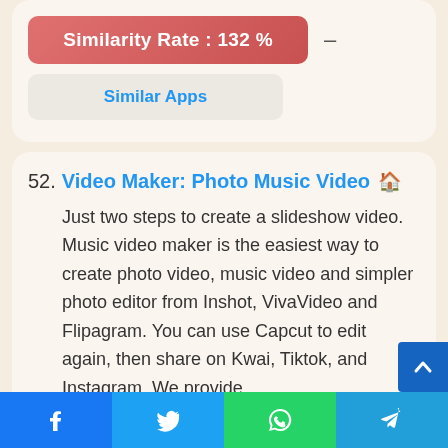[Figure (infographic): Similarity Rate button showing 132% with a dash beside it, followed by a Similar Apps button below it, inside a card]
52. Video Maker: Photo Music Video
Just two steps to create a slideshow video. Music video maker is the easiest way to create photo video, music video and simpler photo editor from Inshot, VivaVideo and Flipagram. You can use Capcut to edit again, then share on Kwai, Tiktok, and Instagram. We provide
[Figure (screenshot): App screenshot thumbnail with dark blue rounded background]
Facebook | Twitter | WhatsApp | Telegram social share bar